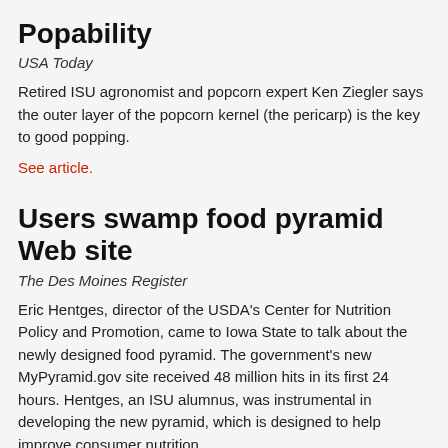Popability
USA Today
Retired ISU agronomist and popcorn expert Ken Ziegler says the outer layer of the popcorn kernel (the pericarp) is the key to good popping.
See article.
Users swamp food pyramid Web site
The Des Moines Register
Eric Hentges, director of the USDA's Center for Nutrition Policy and Promotion, came to Iowa State to talk about the newly designed food pyramid. The government's new MyPyramid.gov site received 48 million hits in its first 24 hours. Hentges, an ISU alumnus, was instrumental in developing the new pyramid, which is designed to help improve consumer nutrition.